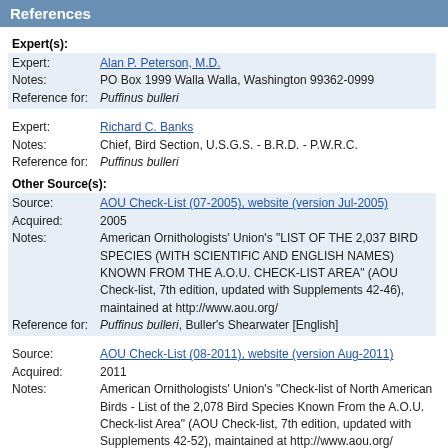References
Expert(s):
Expert: Alan P. Peterson, M.D.
Notes: PO Box 1999 Walla Walla, Washington 99362-0999
Reference for: Puffinus bulleri
Expert: Richard C. Banks
Notes: Chief, Bird Section, U.S.G.S. - B.R.D. - P.W.R.C.
Reference for: Puffinus bulleri
Other Source(s):
Source: AOU Check-List (07-2005), website (version Jul-2005)
Acquired: 2005
Notes: American Ornithologists' Union's "LIST OF THE 2,037 BIRD SPECIES (WITH SCIENTIFIC AND ENGLISH NAMES) KNOWN FROM THE A.O.U. CHECK-LIST AREA" (AOU Check-list, 7th edition, updated with Supplements 42-46), maintained at http://www.aou.org/
Reference for: Puffinus bulleri, Buller's Shearwater [English]
Source: AOU Check-List (08-2011), website (version Aug-2011)
Acquired: 2011
Notes: American Ornithologists' Union's "Check-list of North American Birds - List of the 2,078 Bird Species Known From the A.O.U. Check-list Area" (AOU Check-list, 7th edition, updated with Supplements 42-52), maintained at http://www.aou.org/
Reference for: Puffinus bulleri, Buller's Shearwater [English], Puffin de Buller [French]